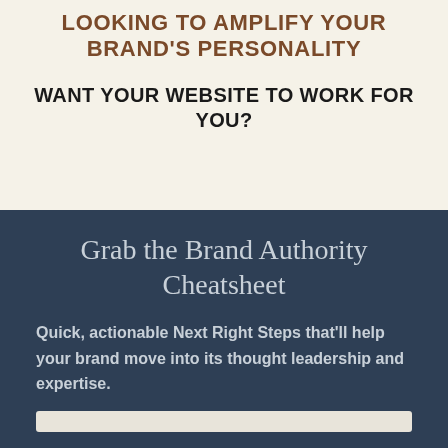LOOKING TO AMPLIFY YOUR BRAND'S PERSONALITY
WANT YOUR WEBSITE TO WORK FOR YOU?
Grab the Brand Authority Cheatsheet
Quick, actionable Next Right Steps that'll help your brand move into its thought leadership and expertise.